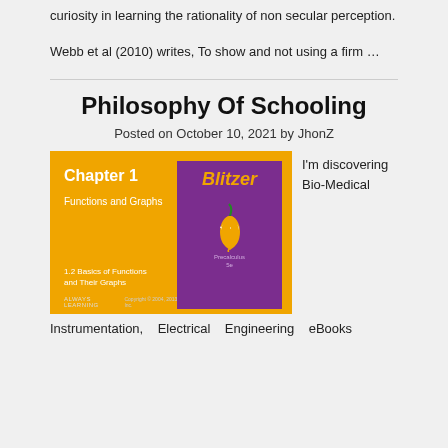curiosity in learning the rationality of non secular perception.
Webb et al (2010) writes, To show and not using a firm …
Philosophy Of Schooling
Posted on October 10, 2021 by JhonZ
[Figure (photo): Book cover image: Blitzer Precalculus 5e textbook, Chapter 1 Functions and Graphs, orange cover with purple Blitzer brand panel showing chili pepper mascot, published by Pearson.]
I'm discovering Bio-Medical
Instrumentation, Electrical Engineering eBooks